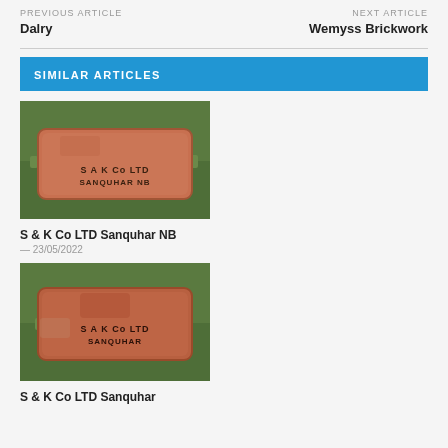PREVIOUS ARTICLE
NEXT ARTICLE
Dalry
Wemyss Brickwork
SIMILAR ARTICLES
[Figure (photo): Photo of a red brick on grass with stamp reading S A K Co LTD SANQUHAR NB]
S & K Co LTD Sanquhar NB
— 23/05/2022
[Figure (photo): Photo of a red brick on grass with stamp reading S A K Co LTD SANQUHAR]
S & K Co LTD Sanquhar